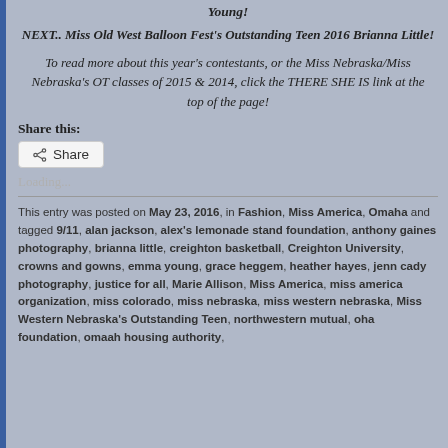Young!
NEXT.. Miss Old West Balloon Fest's Outstanding Teen 2016 Brianna Little!
To read more about this year's contestants, or the Miss Nebraska/Miss Nebraska's OT classes of 2015 & 2014, click the THERE SHE IS link at the top of the page!
Share this:
Share
Loading...
This entry was posted on May 23, 2016, in Fashion, Miss America, Omaha and tagged 9/11, alan jackson, alex's lemonade stand foundation, anthony gaines photography, brianna little, creighton basketball, Creighton University, crowns and gowns, emma young, grace heggem, heather hayes, jenn cady photography, justice for all, Marie Allison, Miss America, miss america organization, miss colorado, miss nebraska, miss western nebraska, Miss Western Nebraska's Outstanding Teen, northwestern mutual, oha foundation, omaah housing authority,